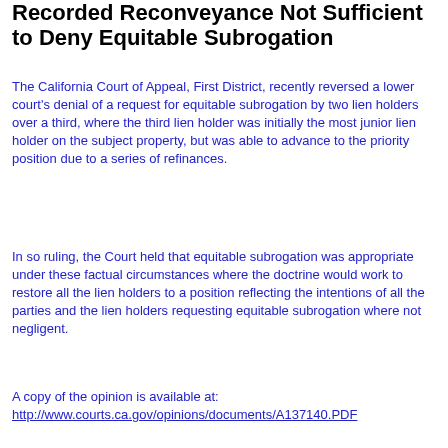Recorded Reconveyance Not Sufficient to Deny Equitable Subrogation
The California Court of Appeal, First District, recently reversed a lower court's denial of a request for equitable subrogation by two lien holders over a third, where the third lien holder was initially the most junior lien holder on the subject property, but was able to advance to the priority position due to a series of refinances.
In so ruling, the Court held that equitable subrogation was appropriate under these factual circumstances where the doctrine would work to restore all the lien holders to a position reflecting the intentions of all the parties and the lien holders requesting equitable subrogation where not negligent.
A copy of the opinion is available at: http://www.courts.ca.gov/opinions/documents/A137140.PDF